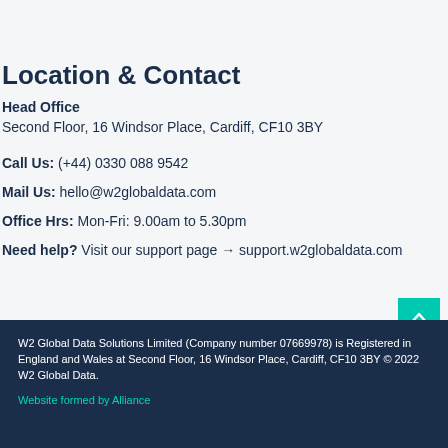Location & Contact
Head Office
Second Floor, 16 Windsor Place, Cardiff, CF10 3BY
Call Us: (+44) 0330 088 9542
Mail Us: hello@w2globaldata.com
Office Hrs: Mon-Fri: 9.00am to 5.30pm
Need help? Visit our support page → support.w2globaldata.com
W2 Global Data Solutions Limited (Company number 07669978) is Registered in England and Wales at Second Floor, 16 Windsor Place, Cardiff, CF10 3BY © 2022 W2 Global Data.
Website formed by Alliance